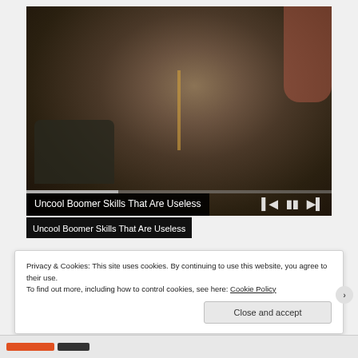[Figure (photo): An elderly man with glasses and a white beard, wearing a brown tweed jacket and measuring tape around his neck, leaning over a sewing machine working on red fabric. Vintage/workshop setting with warm tones. Video player controls (skip back, pause, skip forward) visible at bottom right of the frame. A progress bar is shown at the bottom.]
Uncool Boomer Skills That Are Useless
Privacy & Cookies: This site uses cookies. By continuing to use this website, you agree to their use.
To find out more, including how to control cookies, see here: Cookie Policy
Close and accept